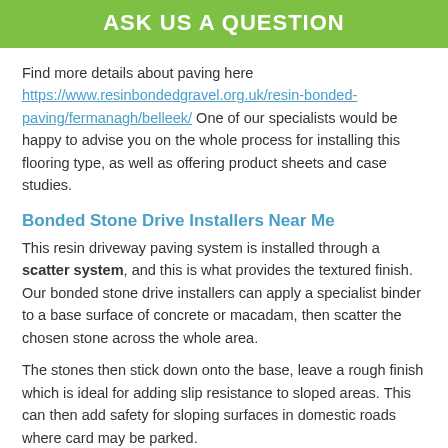ASK US A QUESTION
Find more details about paving here https://www.resinbondedgravel.org.uk/resin-bonded-paving/fermanagh/belleek/ One of our specialists would be happy to advise you on the whole process for installing this flooring type, as well as offering product sheets and case studies.
Bonded Stone Drive Installers Near Me
This resin driveway paving system is installed through a scatter system, and this is what provides the textured finish. Our bonded stone drive installers can apply a specialist binder to a base surface of concrete or macadam, then scatter the chosen stone across the whole area.
The stones then stick down onto the base, leave a rough finish which is ideal for adding slip resistance to sloped areas. This can then add safety for sloping surfaces in domestic roads where card may be parked.
Other Services We Offer